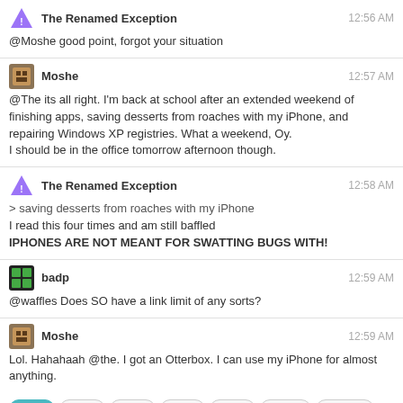The Renamed Exception — 12:56 AM
@Moshe good point, forgot your situation
Moshe — 12:57 AM
@The its all right. I'm back at school after an extended weekend of finishing apps, saving desserts from roaches with my iPhone, and repairing Windows XP registries. What a weekend, Oy.
I should be in the office tomorrow afternoon though.
The Renamed Exception — 12:58 AM
> saving desserts from roaches with my iPhone
I read this four times and am still baffled
IPHONES ARE NOT MEANT FOR SWATTING BUGS WITH!
badp — 12:59 AM
@waffles Does SO have a link limit of any sorts?
Moshe — 12:59 AM
Lol. Hahahaah @the. I got an Otterbox. I can use my iPhone for almost anything.
0 - 1h  1 - 2h  2 - 3h  3 - 4h  4 - 5h  5 - 12h  12 - 15h  15 - 17h  17 - 18h  18 - 19h  19 - 20h  20 - 21h  21 - 22h  22 - 23h  23 - 0h
← prev day  next day →  last day »
join this room